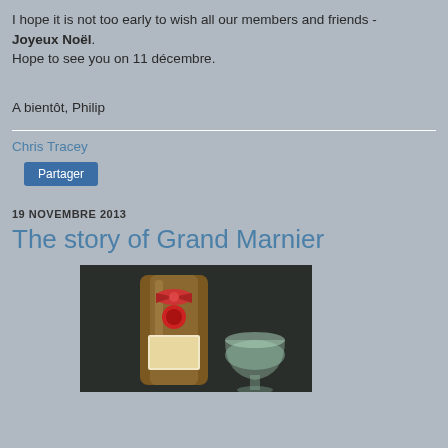I hope it is not too early to wish all our members and friends - Joyeux Noël. Hope to see you on 11 décembre.
A bientôt, Philip
Chris Tracey
Partager
19 NOVEMBRE 2013
The story of Grand Marnier
[Figure (photo): Photo of a Grand Marnier bottle with red wax seal and ribbon, alongside a glass, on a dark background.]